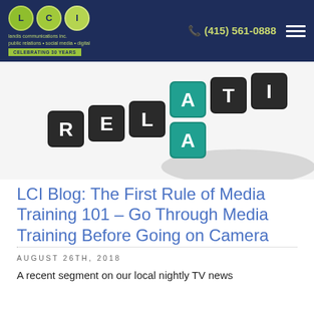LCI | landis communications inc. | public relations • social media • digital | CELEBRATING 30 YEARS | (415) 561-0888
[Figure (photo): Scrabble-style tiles spelling out letters R, E, L, A, T (partial) in black and teal 3D keyboard tiles on a white background, suggesting the word RELATIONS]
LCI Blog: The First Rule of Media Training 101 – Go Through Media Training Before Going on Camera
AUGUST 26TH, 2018
A recent segment on our local nightly TV news